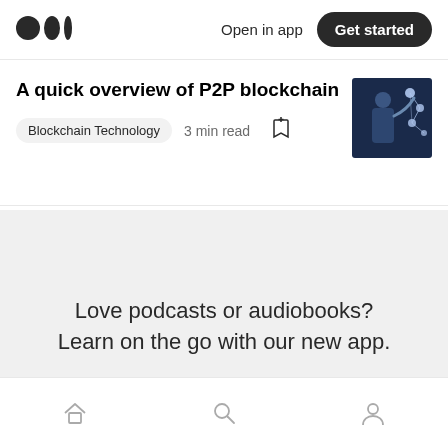Open in app | Get started
A quick overview of P2P blockchain
Blockchain Technology  3 min read
[Figure (photo): Thumbnail image of a person pointing at a blockchain/network diagram with nodes and connections on a dark background]
Love podcasts or audiobooks? Learn on the go with our new app.
Try Knowable
Home | Search | Profile